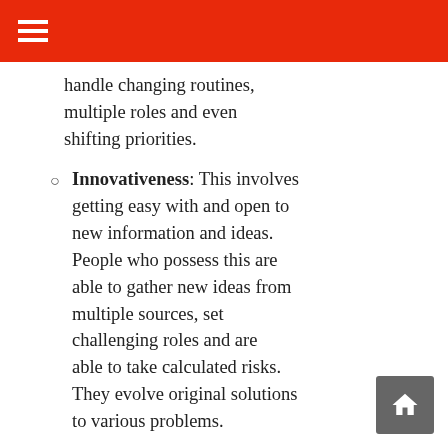≡
handle changing routines, multiple roles and even shifting priorities.
Innovativeness: This involves getting easy with and open to new information and ideas. People who possess this are able to gather new ideas from multiple sources, set challenging roles and are able to take calculated risks. They evolve original solutions to various problems.
Social Awareness:
The ability to understand the